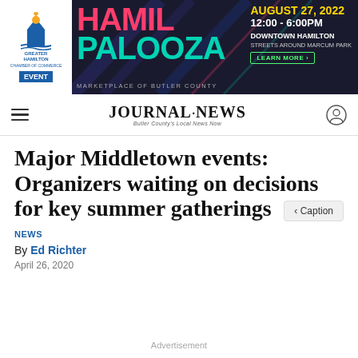[Figure (infographic): Hamil-Palooza event advertisement banner for Greater Hamilton Chamber of Commerce. Text reads: HAMIL-PALOOZA, AUGUST 27, 2022, 12:00 - 6:00PM, DOWNTOWN HAMILTON, STREETS AROUND MARCUM PARK, LEARN MORE, MARKETPLACE OF BUTLER COUNTY. Greater Hamilton Chamber EVENT logo on left.]
JOURNAL-NEWS Butler County's Local News Now
Major Middletown events: Organizers waiting on decisions for key summer gatherings
< Caption
NEWS
By Ed Richter
April 26, 2020
Advertisement